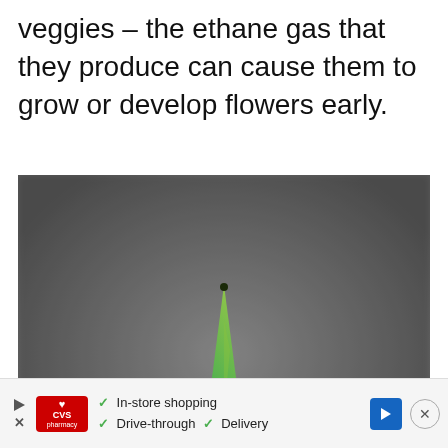veggies – the ethane gas that they produce can cause them to grow or develop flowers early.
[Figure (photo): A dark purple bulb (onion or similar) sitting in a small clear glass bowl, with a bright green pointed sprout emerging from the top, photographed against a grey blurred background.]
[Figure (screenshot): CVS Pharmacy advertisement banner showing: play/close icons on left, CVS pharmacy red logo, checkmarks for In-store shopping, Drive-through, and Delivery, a blue direction arrow icon, and a close X button on the right.]